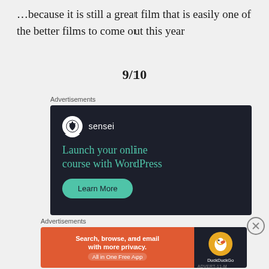...because it is still a great film that is easily one of the better films to come out this year
9/10
Advertisements
[Figure (infographic): Sensei advertisement: dark background with Sensei logo (tree icon in white circle), text 'Launch your online course with WordPress' in teal, and a 'Learn More' teal rounded button]
[Figure (infographic): Close/dismiss button (circled X) for advertisement]
Advertisements
[Figure (infographic): DuckDuckGo advertisement: orange left section with 'Search, browse, and email with more privacy. All in One Free App', dark right section with DuckDuckGo duck logo and brand name]